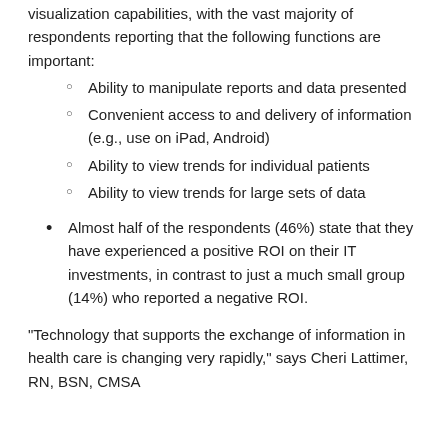visualization capabilities, with the vast majority of respondents reporting that the following functions are important:
Ability to manipulate reports and data presented
Convenient access to and delivery of information (e.g., use on iPad, Android)
Ability to view trends for individual patients
Ability to view trends for large sets of data
Almost half of the respondents (46%) state that they have experienced a positive ROI on their IT investments, in contrast to just a much small group (14%) who reported a negative ROI.
"Technology that supports the exchange of information in health care is changing very rapidly," says Cheri Lattimer, RN, BSN, CMSA